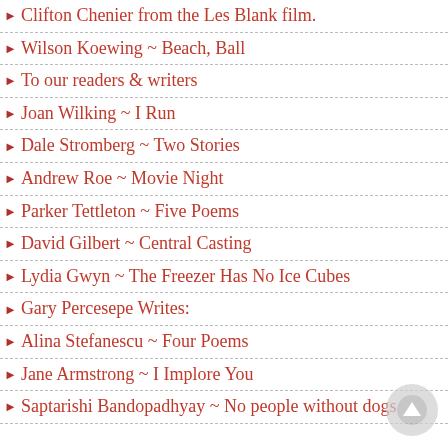Clifton Chenier from the Les Blank film.
Wilson Koewing ~ Beach, Ball
To our readers & writers
Joan Wilking ~ I Run
Dale Stromberg ~ Two Stories
Andrew Roe ~ Movie Night
Parker Tettleton ~ Five Poems
David Gilbert ~ Central Casting
Lydia Gwyn ~ The Freezer Has No Ice Cubes
Gary Percesepe Writes:
Alina Stefanescu ~ Four Poems
Jane Armstrong ~ I Implore You
Saptarishi Bandopadhyay ~ No people without dogs